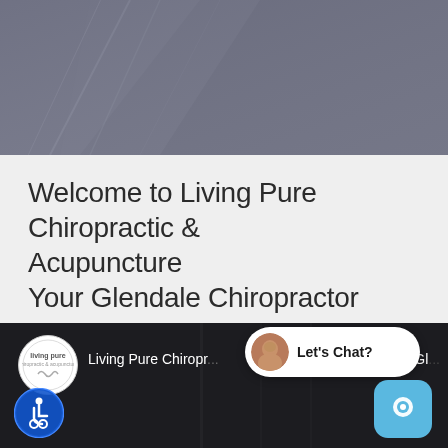[Figure (photo): Dark gray geometric banner/hero image with diagonal light streaks on a slate background]
Welcome to Living Pure Chiropractic & Acupuncture
Your Glendale Chiropractor
Call us at (623) 572-4476 today.
[Figure (screenshot): Dark navigation bar with Living Pure logo circle, 'Living Pure Chiropr...' text, 'Gl...' text on right, chat widget bubble saying 'Let’s Chat?', accessibility icon, and blue chat button]